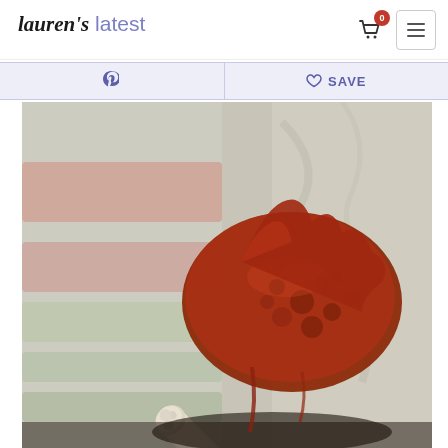Lauren's latest — navigation header with cart (0 items) and menu button
Pinterest share button | ♡ SAVE
[Figure (photo): Close-up food photo of BBQ chicken or ribs being held by tongs, coated in thick red-brown barbecue sauce, with a blurred colorful background.]